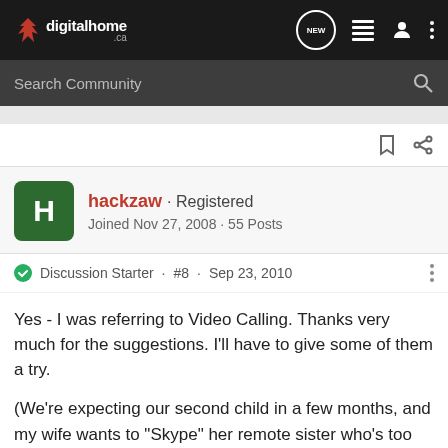digitalhome.ca
Search Community
hackzaw · Registered
Joined Nov 27, 2008 · 55 Posts
Discussion Starter · #8 · Sep 23, 2010
Yes - I was referring to Video Calling. Thanks very much for the suggestions. I'll have to give some of them a try.

(We're expecting our second child in a few months, and my wife wants to "Skype" her remote sister who's too far away to be there). I'll definitely have to test drive this one before the day arrives.